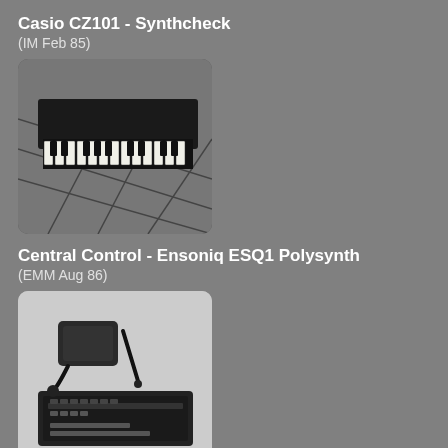Casio CZ101 - Synthcheck
(IM Feb 85)
[Figure (photo): Black and white photograph of the Casio CZ101 synthesizer keyboard, viewed at an angle on a tiled surface]
Central Control - Ensoniq ESQ1 Polysynth
(EMM Aug 86)
[Figure (photo): Photograph of the Ensoniq ESQ1 Polysynth keyboard with a small device/cartridge and stylus in the foreground]
CX-5
(MIC Feb 90)
[Figure (photo): Photograph of the CX-5 keyboard synthesizer, black with white and black keys visible]
Digital Dynamite
[Figure (photo): Photograph of a synthesizer keyboard with blue gradient panel and dark body, black and white keys visible at the bottom]